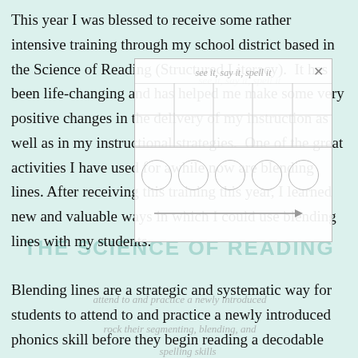This year I was blessed to receive some rather intensive training through my school district based in the Science of Reading (Structured Literacy). It has been life-changing and has helped me make some very positive changes in the delivery of my instruction as well as in my instructional strategies. One of the great activities I have used for awhile now are blending lines. After receiving this training this year, I learned new and valuable ways in which I could use blending lines with my students. Blending lines are a strategic and systematic way for students to attend to and practice a newly introduced phonics skill before they begin reading a decodable passage or story with the same skill. I have used blending lines for a few years now and can tell you I have seen my
[Figure (other): A pop-up overlay box with watermark text 'see it, say it, spell it', a grid with vertical lines, a row of 5 circles, and a right-pointing arrow, along with a close (X) button in the top right.]